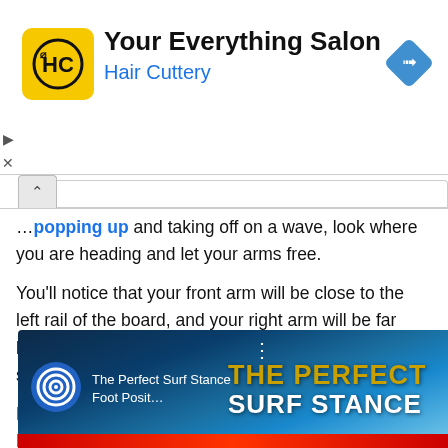[Figure (infographic): Advertisement banner for Hair Cuttery 'Your Everything Salon' with yellow/black HC logo, blue navigation icon, and triangle/X dismiss controls on the left side]
... popping up and taking off on a wave, look where you are heading and let your arms free.
You'll notice that your front arm will be close to the left rail of the board, and your right arm will be far back, over the right rail, and close to the tail of the surfboard.
Do you want to take your surfing to the next level? Learn to surf switchfoot.
[Figure (screenshot): YouTube video thumbnail for 'The Perfect Surf Stance - Foot Posit...' with spiral logo, dark ocean background, gold 'THE PERFECT' text and white 'SURF STANCE' text overlay, red bar at bottom]